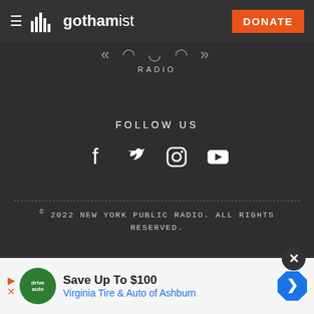gothamist — DONATE
[Figure (logo): WNYC Studios Radio logo/waveform area with 'RADIO' label]
FOLLOW US
[Figure (other): Social media icons: Facebook, Twitter, Instagram, YouTube]
© 2022 NEW YORK PUBLIC RADIO. ALL RIGHTS RESERVED.
TERMS OF USE
PRIVACY POLICY
ACCESSIBILITY
[Figure (other): Advertisement banner: Save Up To $100 — Virginia Tire & Auto of Ashburn]